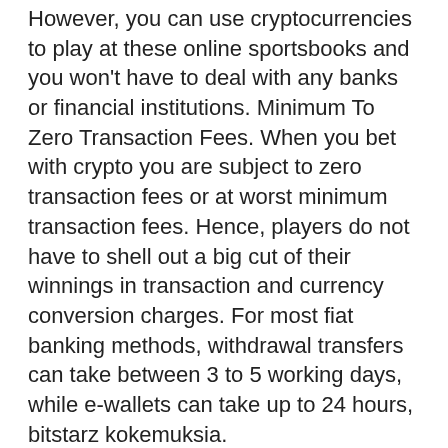However, you can use cryptocurrencies to play at these online sportsbooks and you won't have to deal with any banks or financial institutions. Minimum To Zero Transaction Fees. When you bet with crypto you are subject to zero transaction fees or at worst minimum transaction fees. Hence, players do not have to shell out a big cut of their winnings in transaction and currency conversion charges. For most fiat banking methods, withdrawal transfers can take between 3 to 5 working days, while e-wallets can take up to 24 hours, bitstarz kokemuksia. Once you click on the game that takes your interest, you will then need to set up your betting parameters, bitstarz kokemuksia. The mobile version of Mars casino is available for Android, iOS or Windows mobile. Get a 3BTC + 50 FREE spins bonus package FortuneJack is a gambling site with the aim of giving world players a full Bitcoin